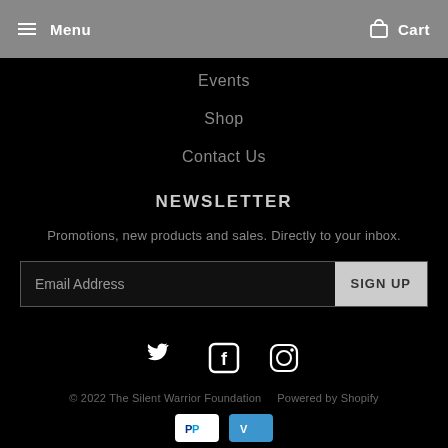Menu  Cart
Events
Shop
Contact Us
NEWSLETTER
Promotions, new products and sales. Directly to your inbox.
Email Address  SIGN UP
[Figure (infographic): Social media icons: Twitter (bird), Facebook (f), Instagram (camera outline)]
© 2022 The Silent Warrior Foundation  Powered by Shopify
[Figure (infographic): Payment icons: PayPal and Venmo]